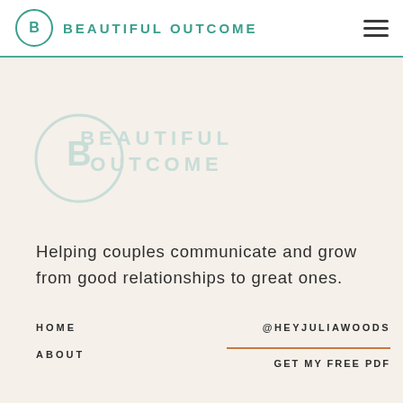BEAUTIFUL OUTCOME
[Figure (logo): Beautiful Outcome logo — circle with B letter, watermark version in light teal]
Helping couples communicate and grow from good relationships to great ones.
HOME
ABOUT
@HEYJULIAWOODS
GET MY FREE PDF